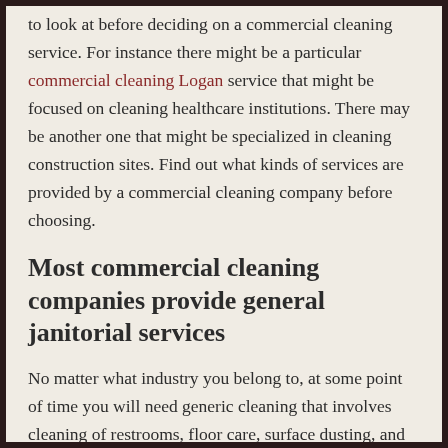to look at before deciding on a commercial cleaning service. For instance there might be a particular commercial cleaning Logan service that might be focused on cleaning healthcare institutions. There may be another one that might be specialized in cleaning construction sites. Find out what kinds of services are provided by a commercial cleaning company before choosing.
Most commercial cleaning companies provide general janitorial services
No matter what industry you belong to, at some point of time you will need generic cleaning that involves cleaning of restrooms, floor care, surface dusting, and trash removal. Although you might have in-house staff to do this on an everyday